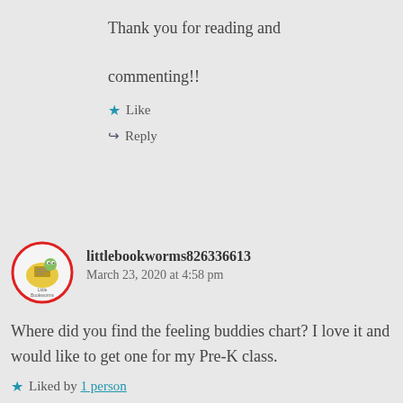Thank you for reading and commenting!!
Like
Reply
littlebookworms826336613
March 23, 2020 at 4:58 pm
Where did you find the feeling buddies chart? I love it and would like to get one for my Pre-K class.
Liked by 1 person